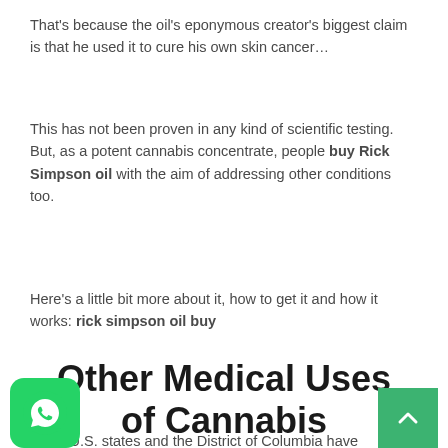That's because the oil's eponymous creator's biggest claim is that he used it to cure his own skin cancer…
This has not been proven in any kind of scientific testing. But, as a potent cannabis concentrate, people buy Rick Simpson oil with the aim of addressing other conditions too.
Here's a little bit more about it, how to get it and how it works: rick simpson oil buy
Other Medical Uses of Cannabis
Many U.S. states and the District of Columbia have